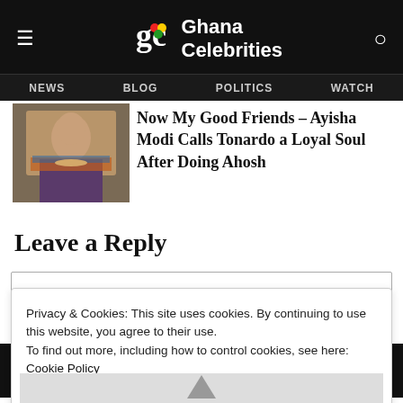Ghana Celebrities — NEWS | BLOG | POLITICS | WATCH
[Figure (photo): Thumbnail photo of a woman (Ayisha Modi) in colorful African print clothing with jewelry]
Now My Good Friends – Ayisha Modi Calls Tonardo a Loyal Soul After Doing Ahosh
Leave a Reply
Privacy & Cookies: This site uses cookies. By continuing to use this website, you agree to their use.
To find out more, including how to control cookies, see here:
Cookie Policy
Close and Accept